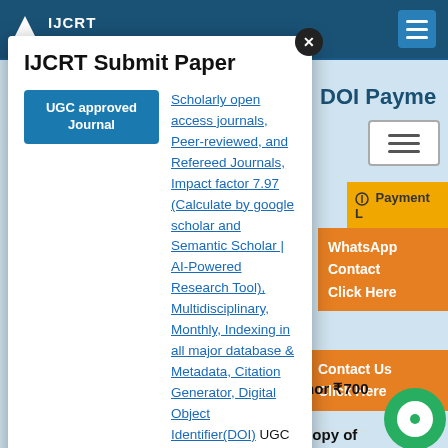IJCRT
IJCRT Submit Paper
UGC approved Journal
Scholarly open access journals, Peer-reviewed, and Refereed Journals, Impact factor 7.97 (Calculate by google scholar and Semantic Scholar | AI-Powered Research Tool), Multidisciplinary, Monthly, Indexing in all major database & Metadata, Citation Generator, Digital Object Identifier(DOI) UGC Approved Journal No: 49023 (18)
DOI Payme
Payment L
WhatsApp Contact Click Here
Contact Us Click Here
📢 Combine DOI & Hard Copy of C Author ₹700 INR
📢 Combine Hard Copy of Journal Ha Copy of Certificate to all Author ₹14